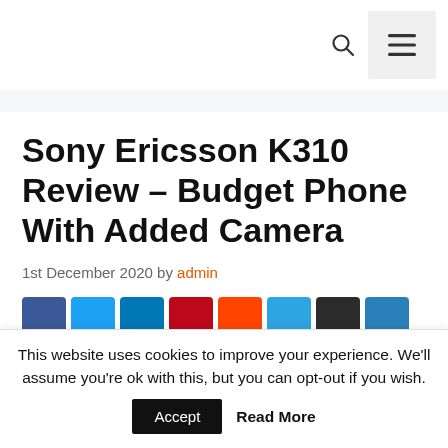Sony Ericsson K310 Review – Budget Phone With Added Camera
1st December 2020 by admin
[Figure (other): Social media share buttons row: Facebook, Twitter, LinkedIn, Pinterest, Reddit, Telegram, Digg, and another button]
This website uses cookies to improve your experience. We'll assume you're ok with this, but you can opt-out if you wish. Accept Read More